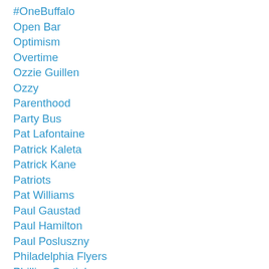#OneBuffalo
Open Bar
Optimism
Overtime
Ozzie Guillen
Ozzy
Parenthood
Party Bus
Pat Lafontaine
Patrick Kaleta
Patrick Kane
Patriots
Pat Williams
Paul Gaustad
Paul Hamilton
Paul Posluszny
Philadelphia Flyers
Phillipe Coutinho
Pink Elephant
Pittsburgh Penguins
Playoff Hockey